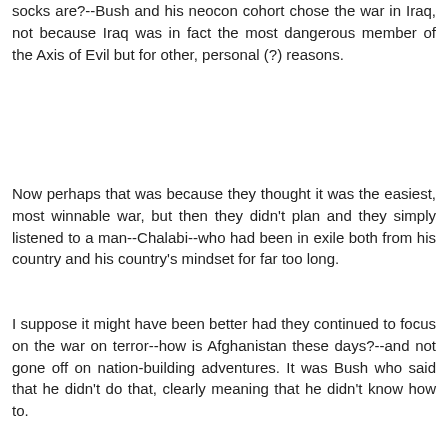socks are?--Bush and his neocon cohort chose the war in Iraq, not because Iraq was in fact the most dangerous member of the Axis of Evil but for other, personal (?) reasons.
Now perhaps that was because they thought it was the easiest, most winnable war, but then they didn't plan and they simply listened to a man--Chalabi--who had been in exile both from his country and his country's mindset for far too long.
I suppose it might have been better had they continued to focus on the war on terror--how is Afghanistan these days?--and not gone off on nation-building adventures. It was Bush who said that he didn't do that, clearly meaning that he didn't know how to.
Reply
Tyler Hower 12:00 PM
As for whether I am an opportunist: I am not the one who